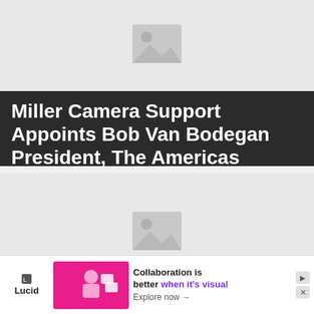[Figure (photo): Placeholder image with grey background and image icon, for first article about Miller Camera Support]
Miller Camera Support Appoints Bob Van Bodegan President, The Americas
By Tom Butts 4 days ago
[Figure (photo): Placeholder image with grey background and image icon, for second article about Rings of Power]
'Rings of Power' Dazzles Viewers,
[Figure (other): Lucid advertisement banner: Collaboration is better when it's visual. Explore now.]